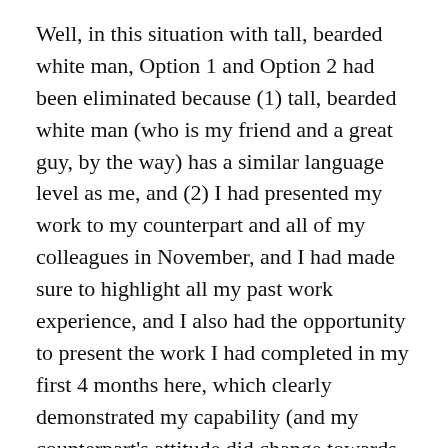Well, in this situation with tall, bearded white man, Option 1 and Option 2 had been eliminated because (1) tall, bearded white man (who is my friend and a great guy, by the way) has a similar language level as me, and (2) I had presented my work to my counterpart and all of my colleagues in November, and I had made sure to highlight all my past work experience, and I also had the opportunity to present the work I had completed in my first 4 months here, which clearly demonstrated my capability (and my counterpart's attitude did change towards me after that presentation).
So, this situation clearly tells me that Option 3,